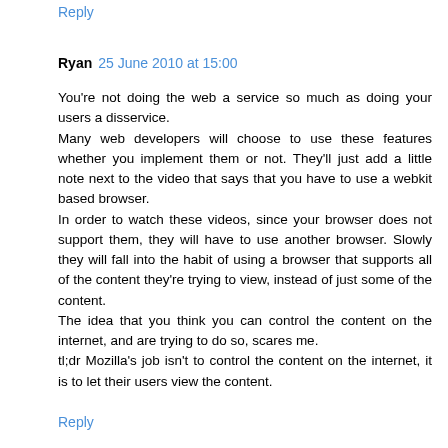Reply
Ryan  25 June 2010 at 15:00
You're not doing the web a service so much as doing your users a disservice.
Many web developers will choose to use these features whether you implement them or not. They'll just add a little note next to the video that says that you have to use a webkit based browser.
In order to watch these videos, since your browser does not support them, they will have to use another browser. Slowly they will fall into the habit of using a browser that supports all of the content they're trying to view, instead of just some of the content.
The idea that you think you can control the content on the internet, and are trying to do so, scares me.
tl;dr Mozilla's job isn't to control the content on the internet, it is to let their users view the content.
Reply